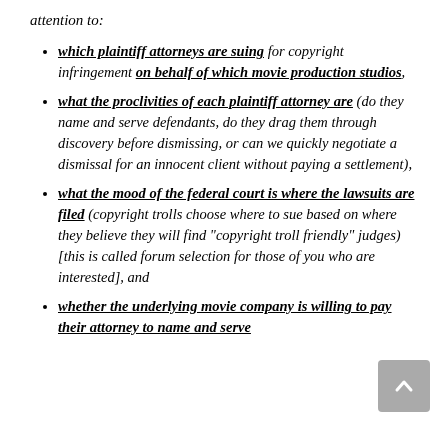attention to:
which plaintiff attorneys are suing for copyright infringement on behalf of which movie production studios,
what the proclivities of each plaintiff attorney are (do they name and serve defendants, do they drag them through discovery before dismissing, or can we quickly negotiate a dismissal for an innocent client without paying a settlement),
what the mood of the federal court is where the lawsuits are filed (copyright trolls choose where to sue based on where they believe they will find "copyright troll friendly" judges) [this is called forum selection for those of you who are interested], and
whether the underlying movie company is willing to pay their attorney to name and serve